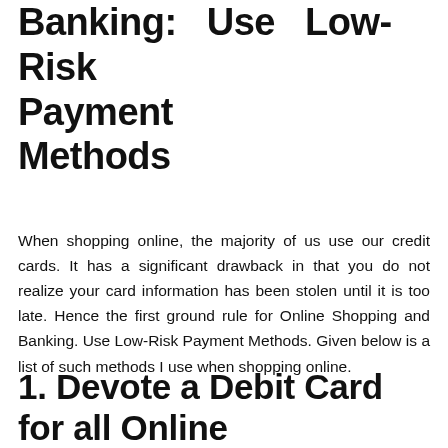Banking: Use Low-Risk Payment Methods
When shopping online, the majority of us use our credit cards. It has a significant drawback in that you do not realize your card information has been stolen until it is too late. Hence the first ground rule for Online Shopping and Banking. Use Low-Risk Payment Methods. Given below is a list of such methods I use when shopping online.
1. Devote a Debit Card for all Online Transactions